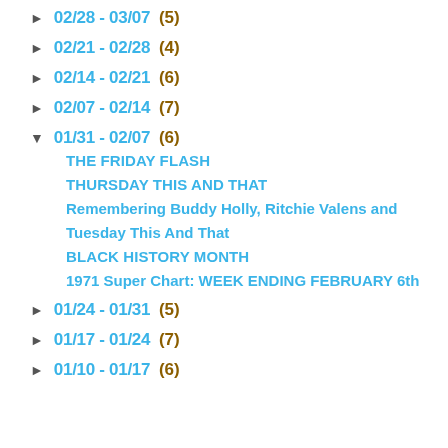► 02/28 - 03/07 (5)
► 02/21 - 02/28 (4)
► 02/14 - 02/21 (6)
► 02/07 - 02/14 (7)
▼ 01/31 - 02/07 (6)
THE FRIDAY FLASH
THURSDAY THIS AND THAT
Remembering Buddy Holly, Ritchie Valens and
Tuesday This And That
BLACK HISTORY MONTH
1971 Super Chart: WEEK ENDING FEBRUARY 6th
► 01/24 - 01/31 (5)
► 01/17 - 01/24 (7)
► 01/10 - 01/17 (6)